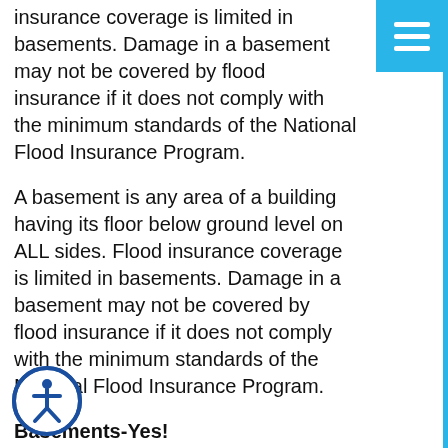insurance coverage is limited in basements. Damage in a basement may not be covered by flood insurance if it does not comply with the minimum standards of the National Flood Insurance Program.
A basement is any area of a building having its floor below ground level on ALL sides. Flood insurance coverage is limited in basements. Damage in a basement may not be covered by flood insurance if it does not comply with the minimum standards of the National Flood Insurance Program.
Basements-Yes!
In a basement, building property coverage includes some mechanical items necessary for running the house such as a boiler, furnace, or water heater, and also items such as unfinished drywall for walls and ceilings, floor, nonflammable insulation, stairways and staircases attached to the building and clean-up.